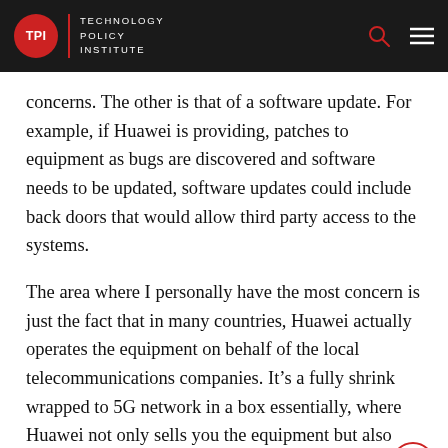TPI | TECHNOLOGY POLICY INSTITUTE
concerns. The other is that of a software update. For example, if Huawei is providing, patches to equipment as bugs are discovered and software needs to be updated, software updates could include back doors that would allow third party access to the systems.
The area where I personally have the most concern is just the fact that in many countries, Huawei actually operates the equipment on behalf of the local telecommunications companies. It’s a fully shrink wrapped to 5G network in a box essentially, where Huawei not only sells you the equipment but also provides the managed services to operate the